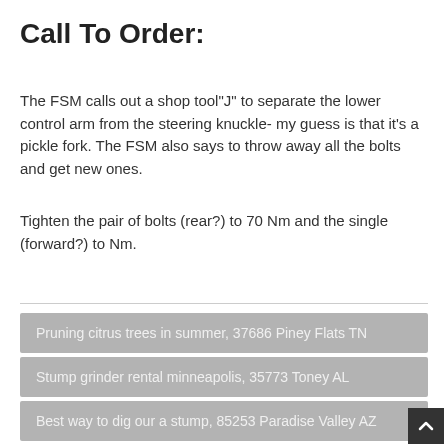Call To Order:
The FSM calls out a shop tool"J" to separate the lower control arm from the steering knuckle- my guess is that it's a pickle fork. The FSM also says to throw away all the bolts and get new ones.
Tighten the pair of bolts (rear?) to 70 Nm and the single (forward?) to Nm.
Pruning citrus trees in summer, 37686 Piney Flats TN
Stump grinder rental minneapolis, 35773 Toney AL
Best way to dig our a stump, 85253 Paradise Valley AZ